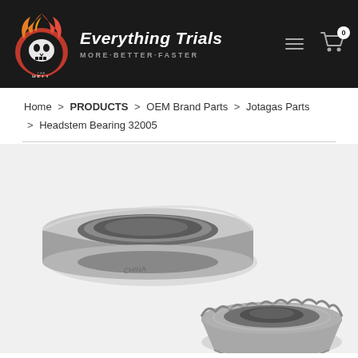The Hell Team — Everything Trials. MORE·BETTER·FASTER
Home > PRODUCTS > OEM Brand Parts > Jotagas Parts > Headstem Bearing 32005
[Figure (photo): Two steel tapered roller bearing components for headstem bearing 32005 — a large outer cup ring (top-left) and an inner cone/roller assembly (bottom-right), both in metallic silver-grey finish on a white background.]